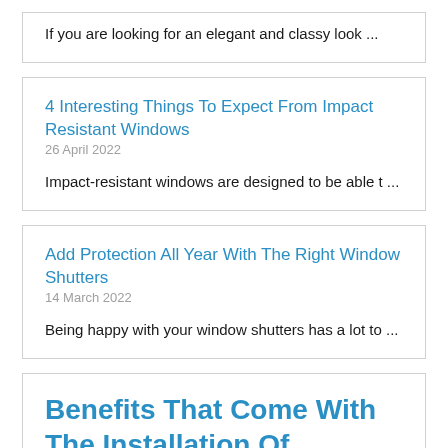If you are looking for an elegant and classy look ...
4 Interesting Things To Expect From Impact Resistant Windows
26 April 2022
Impact-resistant windows are designed to be able t ...
Add Protection All Year With The Right Window Shutters
14 March 2022
Being happy with your window shutters has a lot to ...
Benefits That Come With The Installation Of Plantation Shutters